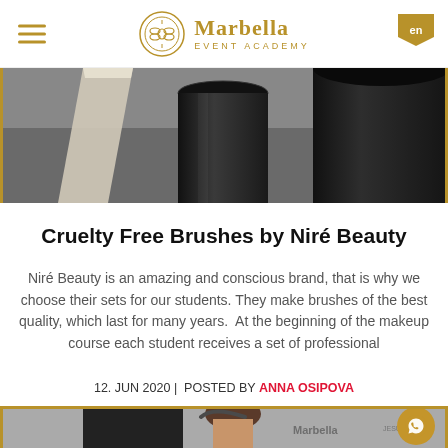Marbella Event Academy — en
[Figure (photo): Photo of dark cylindrical makeup brush holders/cases on a grey surface]
Cruelty Free Brushes by Niré Beauty
Niré Beauty is an amazing and conscious brand, that is why we choose their sets for our students. They make brushes of the best quality, which last for many years.  At the beginning of the makeup course each student receives a set of professional
12. JUN 2020 |  POSTED BY ANNA OSIPOVA
[Figure (photo): Photo of a person with hair up wearing headphones, in front of Marbella Event Academy branded materials]